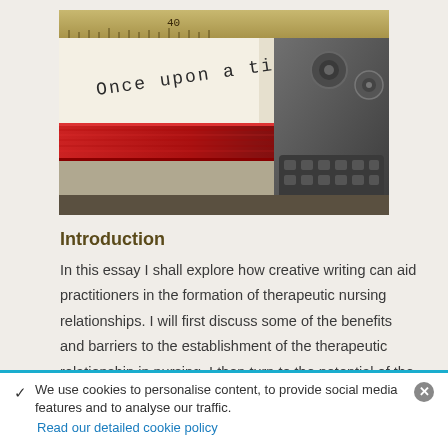[Figure (photo): Close-up photo of a typewriter with paper reading 'Once upon a time ...' in typewriter font, with red ink ribbon visible]
Introduction
In this essay I shall explore how creative writing can aid practitioners in the formation of therapeutic nursing relationships. I will first discuss some of the benefits and barriers to the establishment of the therapeutic relationship in nursing. I then turn to the potential of the use of the arts within health care, to establish reflective
We use cookies to personalise content, to provide social media features and to analyse our traffic. Read our detailed cookie policy